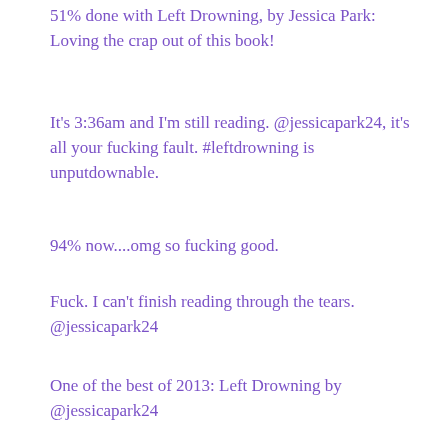51% done with Left Drowning, by Jessica Park: Loving the crap out of this book!
It's 3:36am and I'm still reading. @jessicapark24, it's all your fucking fault. #leftdrowning is unputdownable.
94% now....omg so fucking good.
Fuck. I can't finish reading through the tears. @jessicapark24
One of the best of 2013: Left Drowning by @jessicapark24
I promise, the tears are so worth it, good, bad, and ugly. I laughed, I cried, I swooned. Left Drowning